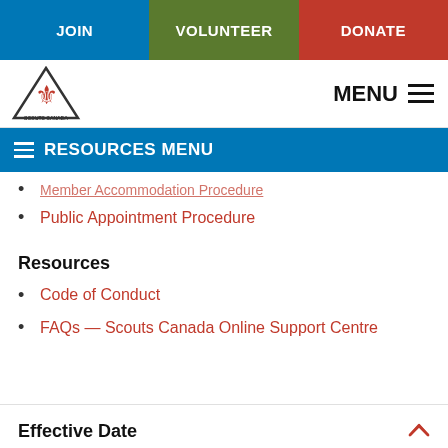JOIN | VOLUNTEER | DONATE
[Figure (logo): Scouts Canada logo — triangle shape with fleur-de-lis and maple leaf design]
RESOURCES MENU
Member Accommodation Procedure (partial, cut off)
Public Appointment Procedure
Resources
Code of Conduct
FAQs — Scouts Canada Online Support Centre
Effective Date